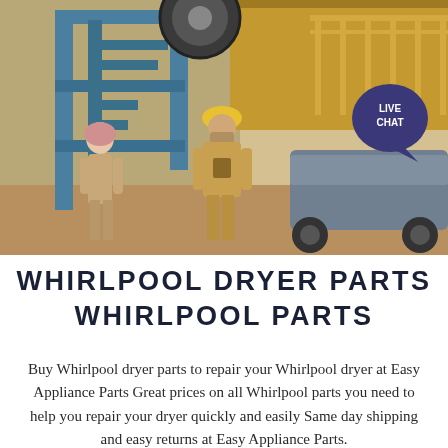[Figure (photo): Industrial construction site photograph showing two workers in the foreground — one wearing a pink head covering and one wearing a yellow hard hat — standing in front of large yellow and blue heavy machinery and scaffolding. A 'LIVE CHAT' speech-bubble badge is overlaid in the upper right corner of the image.]
WHIRLPOOL DRYER PARTS WHIRLPOOL PARTS
Buy Whirlpool dryer parts to repair your Whirlpool dryer at Easy Appliance Parts Great prices on all Whirlpool parts you need to help you repair your dryer quickly and easily Same day shipping and easy returns at Easy Appliance Parts.